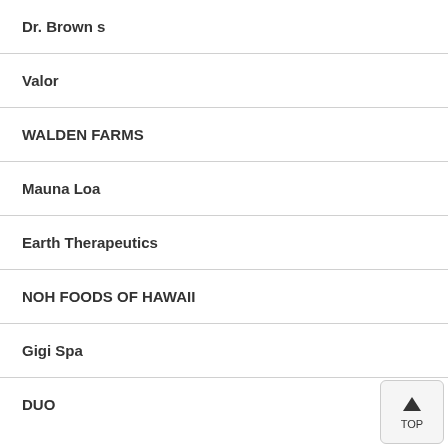Dr. Brown s
Valor
WALDEN FARMS
Mauna Loa
Earth Therapeutics
NOH FOODS OF HAWAII
Gigi Spa
DUO